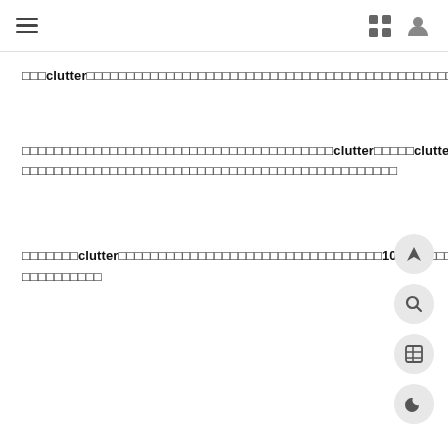[hamburger menu icon] [grid icon] [user icon]
□□□clutter□□□□□□□□□□□□□□□□□□□□□□□□□□□□□□□□□□□□□□□□□
□□□□□□□□□□□□□□□□□□□□□□□□□□□□□□□□□□□□□□clutter□□□□□□clutter□ □□□□□□□□□□□□□□□□□□□□□□□□□□□□□□□□□□□□□□□□□□□□□□
□□□□□□□clutter□□□□□□□□□□□□□□□□□□□□□□□□□□□□□□□□□10□□□□□□□□□□□□ □□□□□□□□□□
[Figure (other): Floating action button group: navigation arrow, search, table/grid, moon/dark-mode icons]